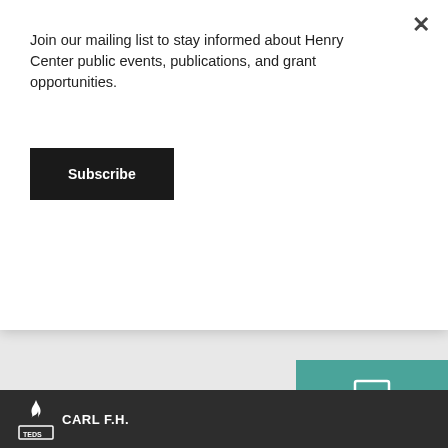Join our mailing list to stay informed about Henry Center public events, publications, and grant opportunities.
Subscribe
[Figure (screenshot): Modal dialog overlay on a website with a subscribe button and a teal sidebar element with a monitor icon, and a dark footer bar with TEDS Carl F.H. logo]
CARL F.H.